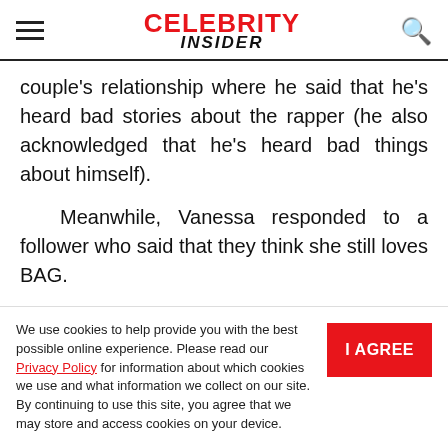CELEBRITY INSIDER
couple's relationship where he said that he's heard bad stories about the rapper (he also acknowledged that he's heard bad things about himself).
Meanwhile, Vanessa responded to a follower who said that they think she still loves BAG.
We use cookies to help provide you with the best possible online experience. Please read our Privacy Policy for information about which cookies we use and what information we collect on our site. By continuing to use this site, you agree that we may store and access cookies on your device.